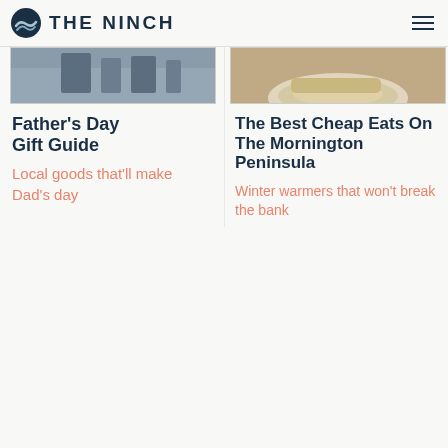THE NINCH
[Figure (photo): Partial photo of items on a table, cut off at top, left column]
[Figure (photo): Partial photo of food on a plate, cut off at top, right column]
Father's Day Gift Guide
Local goods that'll make Dad's day
The Best Cheap Eats On The Mornington Peninsula
Winter warmers that won't break the bank